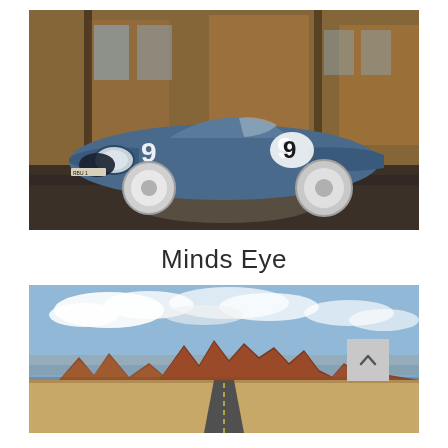[Figure (photo): A vintage blue racing car (number 9) photographed in an abandoned industrial building with rusty walls and dirty concrete floor]
Minds Eye
[Figure (photo): A wide landscape photograph of Monument Valley, Arizona, showing red rock buttes and mesas under a partly cloudy blue sky, with a straight road in the foreground]